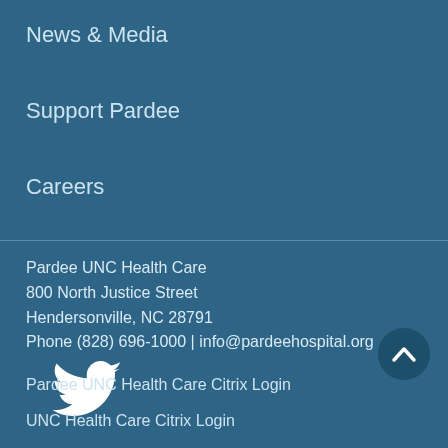News & Media
Support Pardee
Careers
Pardee UNC Health Care
800 North Justice Street
Hendersonville, NC 28791
Phone (828) 696-1000 | info@pardeehospital.org
[Figure (logo): Twitter bird icon in white]
Pardee UNC Health Care Citrix Login
UNC Health Care Citrix Login